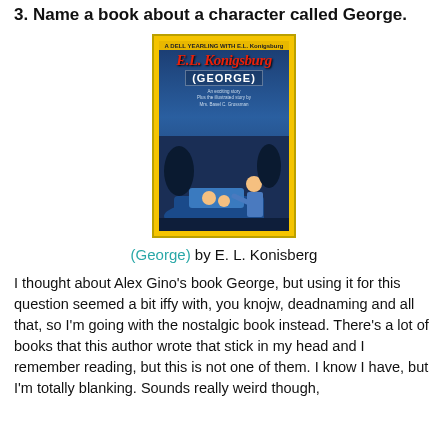3. Name a book about a character called George.
[Figure (illustration): Book cover of '(George)' by E.L. Konigsburg. Yellow border with dark blue illustrated cover showing a police officer leaning over a car with children inside.]
(George) by E. L. Konisberg
I thought about Alex Gino's book George, but using it for this question seemed a bit iffy with, you knojw, deadnaming and all that, so I'm going with the nostalgic book instead. There's a lot of books that this author wrote that stick in my head and I remember reading, but this is not one of them. I know I have, but I'm totally blanking. Sounds really weird though,